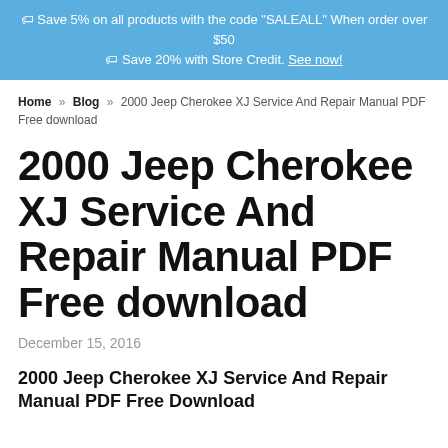🏷 Save 5% on all products with the code "SALEALL" When order over $50 🏷 Save 20% with Store Credit. See now!
Home » Blog » 2000 Jeep Cherokee XJ Service And Repair Manual PDF Free download
2000 Jeep Cherokee XJ Service And Repair Manual PDF Free download
December 15, 2016
2000 Jeep Cherokee XJ Service And Repair Manual PDF Free Download